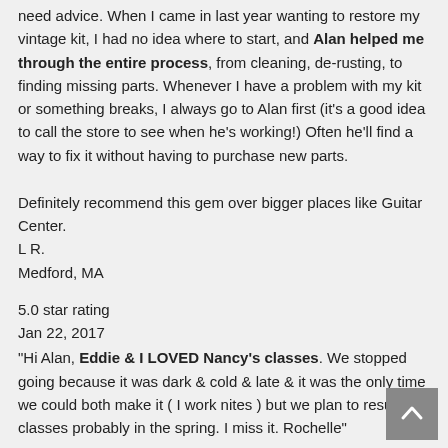need advice. When I came in last year wanting to restore my vintage kit, I had no idea where to start, and Alan helped me through the entire process, from cleaning, de-rusting, to finding missing parts. Whenever I have a problem with my kit or something breaks, I always go to Alan first (it's a good idea to call the store to see when he's working!) Often he'll find a way to fix it without having to purchase new parts.
Definitely recommend this gem over bigger places like Guitar Center.
L R.
Medford, MA
5.0 star rating
Jan 22, 2017
"Hi Alan, Eddie & I LOVED Nancy's classes. We stopped going because it was dark & cold & late & it was the only time we could both make it ( I work nites ) but we plan to resume classes probably in the spring. I miss it. Rochelle"
R.W.
8/16/2016
5.0 star rating
Purchased beautiful instruments...
I recommend the workshops to all my college student studying world music in